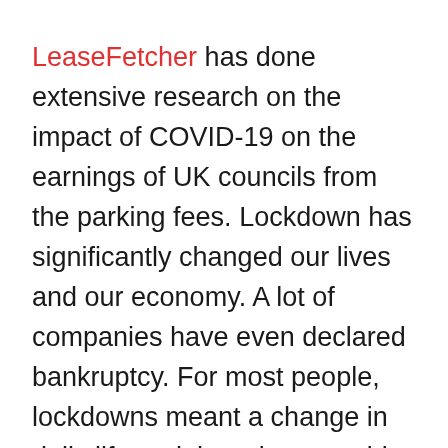LeaseFetcher has done extensive research on the impact of COVID-19 on the earnings of UK councils from the parking fees. Lockdown has significantly changed our lives and our economy. A lot of companies have even declared bankruptcy. For most people, lockdowns meant a change in daily life and there is an upside too.
We had more free time and fewer expenses because we didn't have to commute. People had more time to spend with their families and prepare healthy meals, so it can be counted as